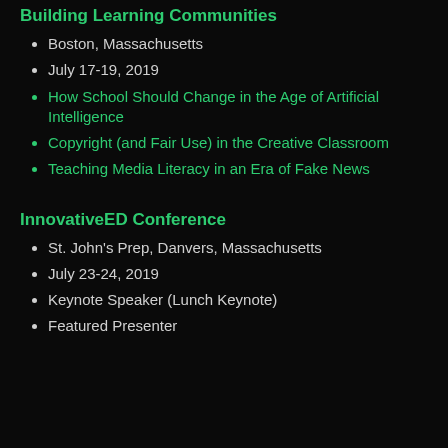Building Learning Communities
Boston, Massachusetts
July 17-19, 2019
How School Should Change in the Age of Artificial Intelligence
Copyright (and Fair Use) in the Creative Classroom
Teaching Media Literacy in an Era of Fake News
InnovativeED Conference
St. John's Prep, Danvers, Massachusetts
July 23-24, 2019
Keynote Speaker (Lunch Keynote)
Featured Presenter